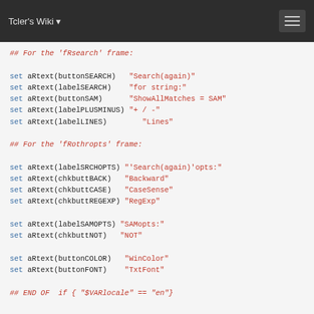Tcler's Wiki
## For the 'fRsearch' frame:
set aRtext(buttonSEARCH)   "Search(again)"
set aRtext(labelSEARCH)    "for string:"
set aRtext(buttonSAM)      "ShowAllMatches = SAM"
set aRtext(labelPLUSMINUS) "+ / -"
set aRtext(labelLINES)        "Lines"

## For the 'fRothropts' frame:

set aRtext(labelSRCHOPTS) "'Search(again)'opts:"
set aRtext(chkbuttBACK)   "Backward"
set aRtext(chkbuttCASE)   "CaseSense"
set aRtext(chkbuttREGEXP) "RegExp"

set aRtext(labelSAMOPTS) "SAMopts:"
set aRtext(chkbuttNOT)   "NOT"

set aRtext(buttonCOLOR)   "WinColor"
set aRtext(buttonFONT)    "TxtFont"

## END OF...